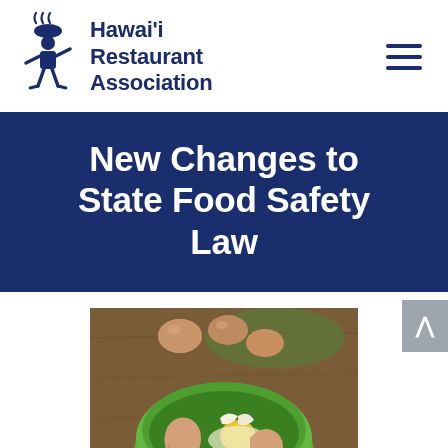[Figure (logo): Hawaii Restaurant Association logo with stylized chef figure and steam lines above, next to organization name text]
New Changes to State Food Safety Law
[Figure (photo): Overhead photo of hands cracking an egg into a green bowl, with brown eggs in background on wooden surface]